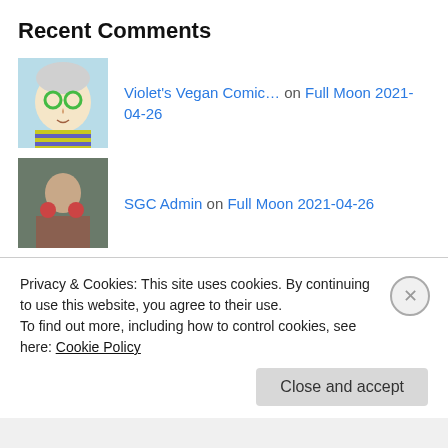Recent Comments
Violet's Vegan Comic… on Full Moon 2021-04-26
SGC Admin on Full Moon 2021-04-26
Grandtrines on Full Moon 2021-03-28 (Libra Mo…
SGC Admin on Bonnie and Clyde : Ambush Char…
SGC Admin on Full Moon 2021-03-28 (Libra Mo…
Privacy & Cookies: This site uses cookies. By continuing to use this website, you agree to their use.
To find out more, including how to control cookies, see here: Cookie Policy
Close and accept